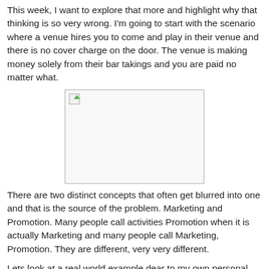This week, I want to explore that more and highlight why that thinking is so very wrong. I'm going to start with the scenario where a venue hires you to come and play in their venue and there is no cover charge on the door. The venue is making money solely from their bar takings and you are paid no matter what.
[Figure (photo): Placeholder image with broken image icon in top-left corner]
There are two distinct concepts that often get blurred into one and that is the source of the problem. Marketing and Promotion. Many people call activities Promotion when it is actually Marketing and many people call Marketing, Promotion. They are different, very very different.
Lets look at a real world example dear to my own personal taste buds.
Beer. Seriously, beer is brilliant. Go and buy a bottle of...